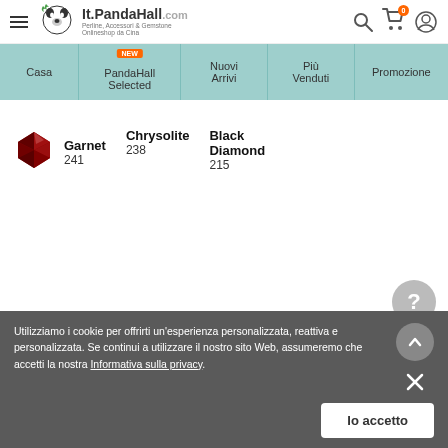It.PandaHall.com — Perline, Accessori & Gemstone, Onlineshop da Cina
Casa | PandaHall Selected NEW | Nuovi Arrivi | Più Venduti | Promozione
Garnet 241   Chrysolite 238   Black Diamond 215
Utilizziamo i cookie per offrirti un'esperienza personalizzata, reattiva e personalizzata. Se continui a utilizzare il nostro sito Web, assumeremo che accetti la nostra Informativa sulla privacy.
Io accetto